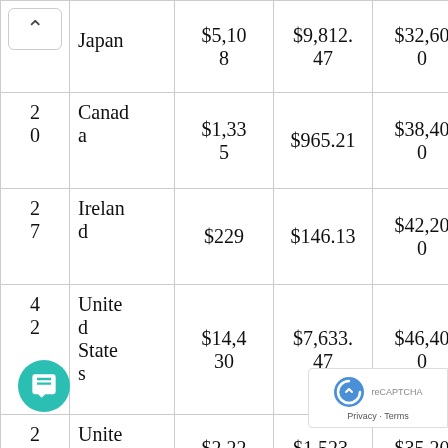| 2 | Japan | $5,108 | $9,812.47 | $32,600 | $62,625 |
| 20 | Canada | $1,335 | $965.21 | $38,400 | $27,763 |
| 27 | Ireland | $229 | $146.13 | $42,200 | $26,881 |
| 42 | United States | $14,430 | $7,633.47 | $46,400 | $24,546 |
| 2 | United Kingdom | $2,224 | $1,523.44 | $35,200 | $…12 |